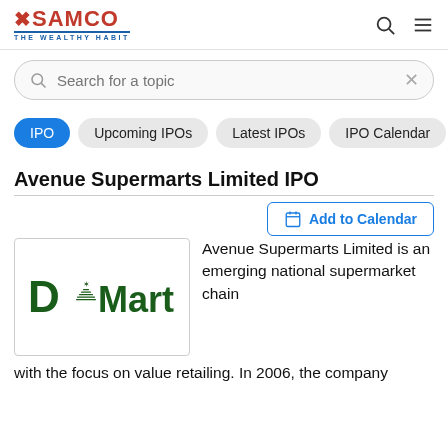[Figure (logo): SAMCO - The Wealthy Habit logo with search and menu icons]
[Figure (screenshot): Search bar with placeholder 'Search for a topic' and X close button]
IPO
Upcoming IPOs
Latest IPOs
IPO Calendar
Per
Avenue Supermarts Limited IPO
[Figure (logo): D-Mart logo — green DMart text with star and tree design]
Avenue Supermarts Limited is an emerging national supermarket chain with the focus on value retailing. In 2006, the company